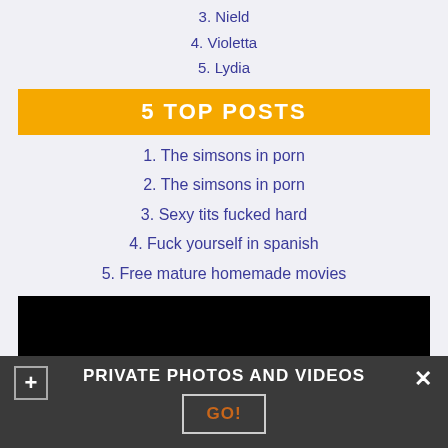3. Nield
4. Violetta
5. Lydia
5 TOP POSTS
1. The simsons in porn
2. The simsons in porn
3. Sexy tits fucked hard
4. Fuck yourself in spanish
5. Free mature homemade movies
[Figure (screenshot): Black video player area]
PRIVATE PHOTOS AND VIDEOS
GO!